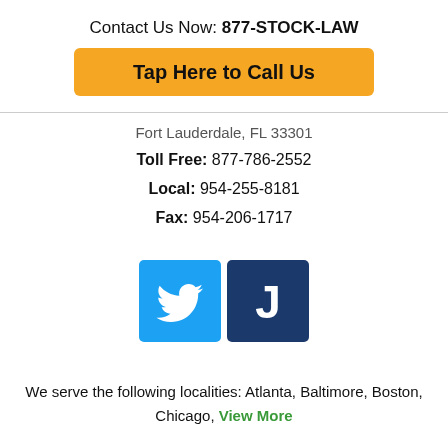Contact Us Now: 877-STOCK-LAW
Tap Here to Call Us
Fort Lauderdale, FL 33301
Toll Free: 877-786-2552
Local: 954-255-8181
Fax: 954-206-1717
[Figure (logo): Twitter bird logo icon (blue square) and Justia J logo icon (dark blue square)]
We serve the following localities: Atlanta, Baltimore, Boston, Chicago, View More
Home